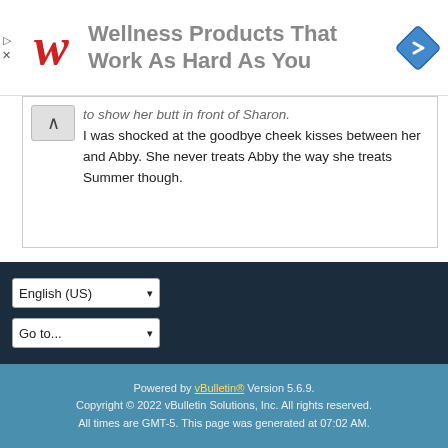[Figure (other): Walgreens advertisement banner: Walgreens cursive W logo in red on left, large grey bold text 'Wellness Products That Work As Hard As You', blue diamond navigation icon on right. Small play triangle and X close controls on far left.]
to show her butt in front of Sharon.
I was shocked at the goodbye cheek kisses between her and Abby. She never treats Abby the way she treats Summer though.
1  2  Next
English (US) ▾
Go to... ▾
Powered by vBulletin® Version 5.6.9. Copyright © 2022 vBulletin Solutions, Inc. All rights reserved. All times are GMT-5. This page was generated at 07:02 AM.